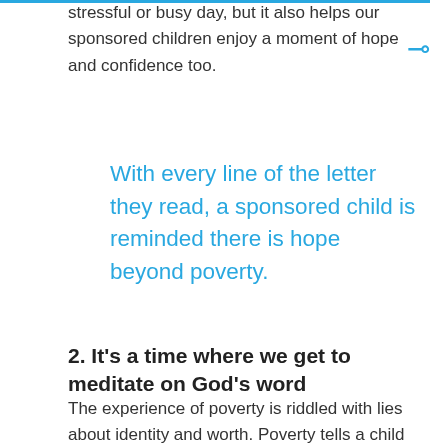stressful or busy day, but it also helps our sponsored children enjoy a moment of hope and confidence too.
With every line of the letter they read, a sponsored child is reminded there is hope beyond poverty.
2. It’s a time where we get to meditate on God’s word
The experience of poverty is riddled with lies about identity and worth. Poverty tells a child they are hopeless, worthless and undervalued, so when a child living in extreme poverty receives a letter with joy and encouragement, the words on a page uplift their spirit and stir...